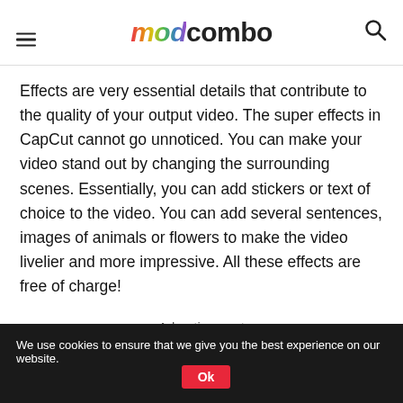MODCOMBO
Effects are very essential details that contribute to the quality of your output video. The super effects in CapCut cannot go unnoticed. You can make your video stand out by changing the surrounding scenes. Essentially, you can add stickers or text of choice to the video. You can add several sentences, images of animals or flowers to make the video livelier and more impressive. All these effects are free of charge!
Advertisement
We use cookies to ensure that we give you the best experience on our website. Ok